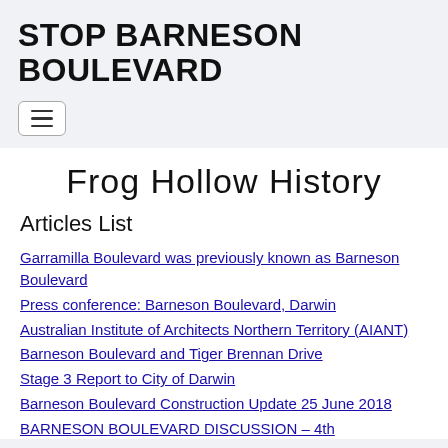STOP BARNESON BOULEVARD
Frog Hollow History
Articles List
Garramilla Boulevard was previously known as Barneson Boulevard
Press conference: Barneson Boulevard, Darwin
Australian Institute of Architects Northern Territory (AIANT)
Barneson Boulevard and Tiger Brennan Drive
Stage 3 Report to City of Darwin
Barneson Boulevard Construction Update 25 June 2018
BARNESON BOULEVARD DISCUSSION – 4th